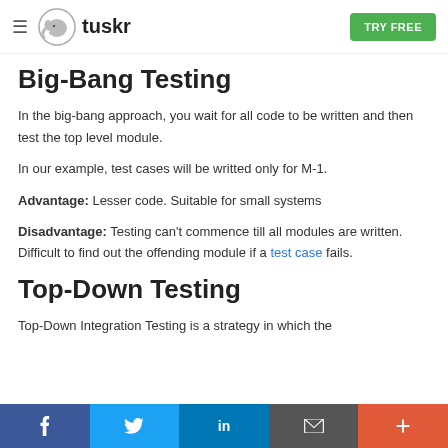tuskr — TRY FREE
Big-Bang Testing
In the big-bang approach, you wait for all code to be written and then test the top level module.
In our example, test cases will be writted only for M-1.
Advantage: Lesser code. Suitable for small systems
Disadvantage: Testing can't commence till all modules are written. Difficult to find out the offending module if a test case fails.
Top-Down Testing
Top-Down Integration Testing is a strategy in which the
f  Twitter  in  email  +